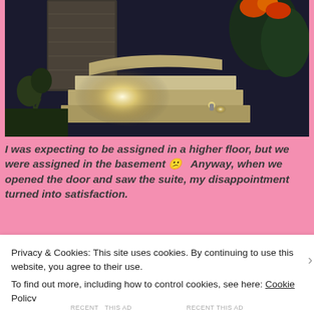[Figure (photo): Night-time photo of an illuminated stone entrance or patio area with a spotlight shining on steps, surrounded by dark foliage and flowers.]
I was expecting to be assigned in a higher floor, but we were assigned in the basement 😕  Anyway, when we opened the door and saw the suite, my disappointment turned into satisfaction.
Privacy & Cookies: This site uses cookies. By continuing to use this website, you agree to their use.
To find out more, including how to control cookies, see here: Cookie Policy
Close and accept